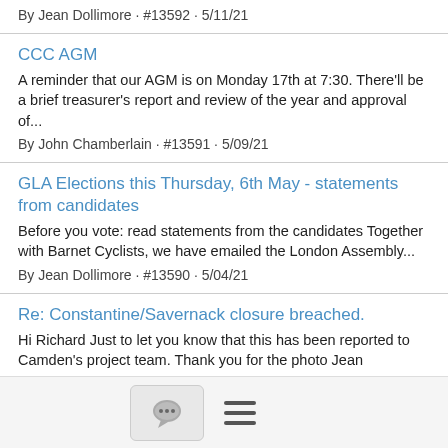By Jean Dollimore · #13592 · 5/11/21
CCC AGM
A reminder that our AGM is on Monday 17th at 7:30. There'll be a brief treasurer's report and review of the year and approval of...
By John Chamberlain · #13591 · 5/09/21
GLA Elections this Thursday, 6th May - statements from candidates
Before you vote: read statements from the candidates Together with Barnet Cyclists, we have emailed the London Assembly...
By Jean Dollimore · #13590 · 5/04/21
Re: Constantine/Savernack closure breached.
Hi Richard Just to let you know that this has been reported to Camden's project team. Thank you for the photo Jean
By Jean Dollimore · #13589 · 5/01/21
Constantine/Savernack closure breached. 📎